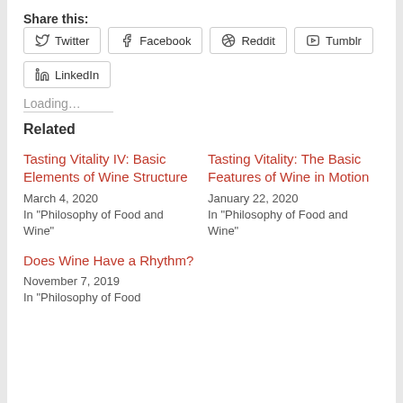Share this:
Twitter
Facebook
Reddit
Tumblr
LinkedIn
Loading...
Related
Tasting Vitality IV: Basic Elements of Wine Structure
March 4, 2020
In "Philosophy of Food and Wine"
Tasting Vitality: The Basic Features of Wine in Motion
January 22, 2020
In "Philosophy of Food and Wine"
Does Wine Have a Rhythm?
November 7, 2019
In "Philosophy of Food